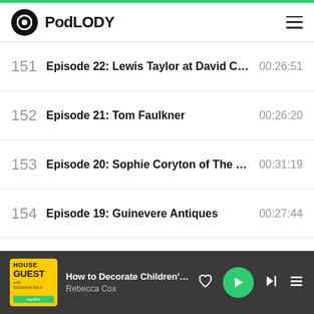PodLODY
151  Episode 22: Lewis Taylor at David Collin...  00:26:51
152  Episode 21: Tom Faulkner  00:26:20
153  Episode 20: Sophie Coryton of The Roo...  00:31:19
154  Episode 19: Guinevere Antiques  00:27:44
155  Episode 18: Tollgård  00:29:23
156  Episode 17: Will Fisher, Jamb  00:22:01
157  Episode 16: Emma Sims-Hilditch  00:29:56
158  Episode 15: Timothy Corrigan  00:25:08
How to Decorate Children's Bedroo...  Rebecca Cox